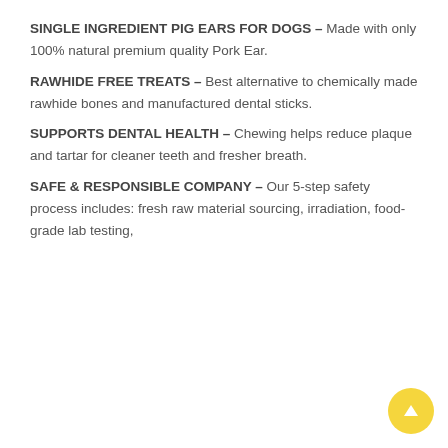SINGLE INGREDIENT PIG EARS FOR DOGS – Made with only 100% natural premium quality Pork Ear.
RAWHIDE FREE TREATS – Best alternative to chemically made rawhide bones and manufactured dental sticks.
SUPPORTS DENTAL HEALTH – Chewing helps reduce plaque and tartar for cleaner teeth and fresher breath.
SAFE & RESPONSIBLE COMPANY – Our 5-step safety process includes: fresh raw material sourcing, irradiation, food-grade lab testing,